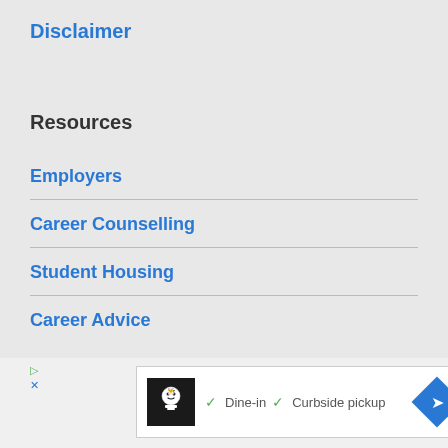Disclaimer
Resources
Employers
Career Counselling
Student Housing
Career Advice
[Figure (infographic): Advertisement banner with chef logo, checkmarks for Dine-in and Curbside pickup, and a blue navigation diamond icon]